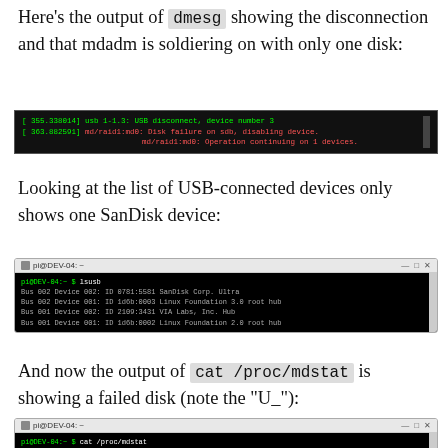Here's the output of dmesg showing the disconnection and that mdadm is soldiering on with only one disk:
[Figure (screenshot): Terminal showing dmesg output: usb 1-1.3 USB disconnect device number 3, md/raid1:md0 Disk failure on sdb disabling device, md/raid1:md0 Operation continuing on 1 devices.]
Looking at the list of USB-connected devices only shows one SanDisk device:
[Figure (screenshot): Terminal window pi@DEV-04 showing lsusb output with one SanDisk Corp Ultra device and Linux Foundation root hubs.]
And now the output of cat /proc/mdstat is showing a failed disk (note the "U_"):
[Figure (screenshot): Terminal window pi@DEV-04 showing cat /proc/mdstat output with failed disk indicator.]